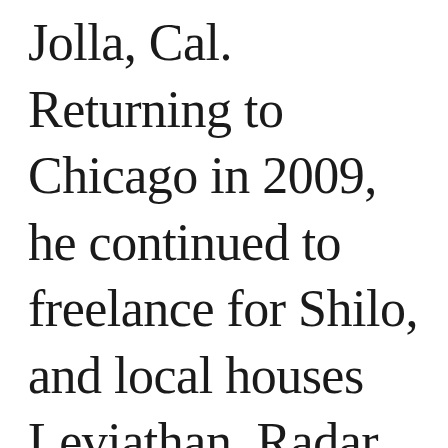Jolla, Cal. Returning to Chicago in 2009, he continued to freelance for Shilo, and local houses Leviathan, Radar, Sol and Digital Kitchen.